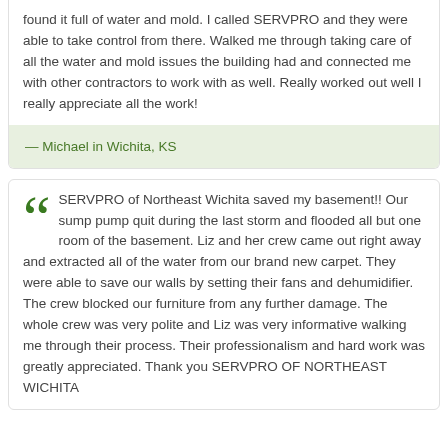found it full of water and mold. I called SERVPRO and they were able to take control from there. Walked me through taking care of all the water and mold issues the building had and connected me with other contractors to work with as well. Really worked out well I really appreciate all the work!
— Michael in Wichita, KS
SERVPRO of Northeast Wichita saved my basement!! Our sump pump quit during the last storm and flooded all but one room of the basement. Liz and her crew came out right away and extracted all of the water from our brand new carpet. They were able to save our walls by setting their fans and dehumidifier. The crew blocked our furniture from any further damage. The whole crew was very polite and Liz was very informative walking me through their process. Their professionalism and hard work was greatly appreciated. Thank you SERVPRO OF NORTHEAST WICHITA